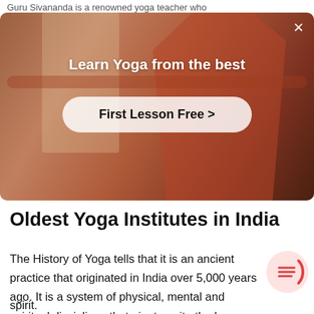Guru Sivananda is a renowned yoga teacher who
[Figure (photo): Advertisement overlay showing a person practicing yoga with arms outstretched in a warmly lit room. Contains a white close (X) button in the top-right corner, a bold white headline 'Learn Yoga from the best', and a rounded white pill button labeled 'First Lesson Free >']
Oldest Yoga Institutes in India
The History of Yoga tells that it is an ancient practice that originated in India over 5,000 years ago. It is a system of physical, mental and spiritual disciplines that aim to unite the human body with the mind and spirit.